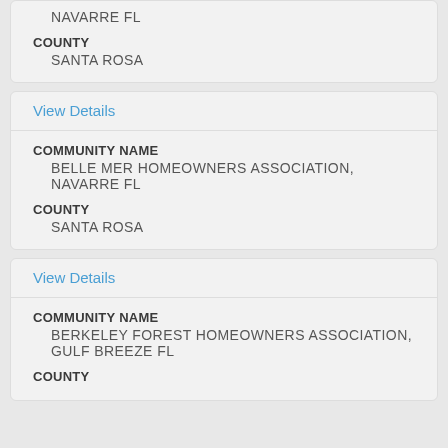NAVARRE FL
COUNTY
SANTA ROSA
View Details
COMMUNITY NAME
BELLE MER HOMEOWNERS ASSOCIATION, NAVARRE FL
COUNTY
SANTA ROSA
View Details
COMMUNITY NAME
BERKELEY FOREST HOMEOWNERS ASSOCIATION, GULF BREEZE FL
COUNTY